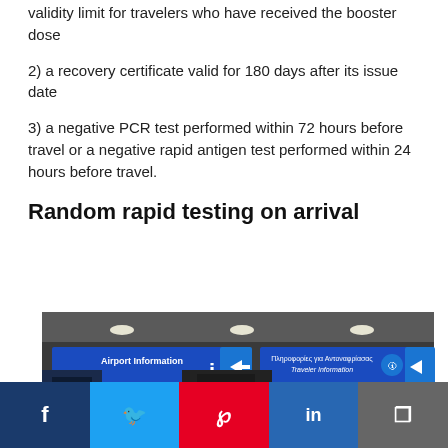validity limit for travelers who have received the booster dose
2) a recovery certificate valid for 180 days after its issue date
3) a negative PCR test performed within 72 hours before travel or a negative rapid antigen test performed within 24 hours before travel.
Random rapid testing on arrival
[Figure (photo): Airport information signs in blue with white text reading 'Airport Information' and 'Πληροφορίες για Αντοναφρίασας / Traveler Information' with an arrow sign, inside an airport terminal ceiling area.]
Social share buttons: Facebook, Twitter, Pinterest, LinkedIn, Copy